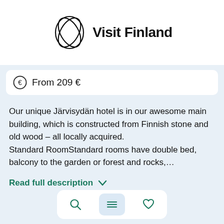[Figure (logo): Visit Finland logo — circular sketch globe outline with 'Visit Finland' bold text to the right]
From 209 €
Our unique Järvisydän hotel is in our awesome main building, which is constructed from Finnish stone and old wood – all locally acquired. Standard RoomStandard rooms have double bed, balcony to the garden or forest and rocks,…
Read full description ∨
[Figure (infographic): Bottom navigation bar with three icons: search (magnifying glass), list/menu (three lines, active/highlighted), and heart/favorites]